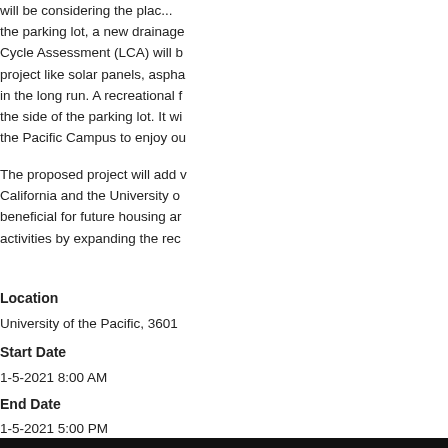will be considering the placement of the parking lot, a new drainage Cycle Assessment (LCA) will b project like solar panels, aspha in the long run. A recreational f the side of the parking lot. It wi the Pacific Campus to enjoy ou
The proposed project will add v California and the University o beneficial for future housing ar activities by expanding the rec
Location
University of the Pacific, 3601
Start Date
1-5-2021 8:00 AM
End Date
1-5-2021 5:00 PM